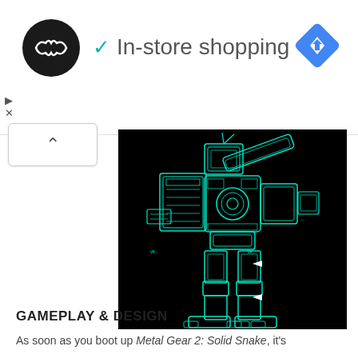✓ In-store shopping
[Figure (illustration): A cyan/teal-colored technical schematic illustration of a mech robot (Metal Gear) on a black background, drawn in a blueprint style with glowing cyan outlines showing mechanical details.]
GAMEPLAY & DESIGN
As soon as you boot up Metal Gear 2: Solid Snake, it's